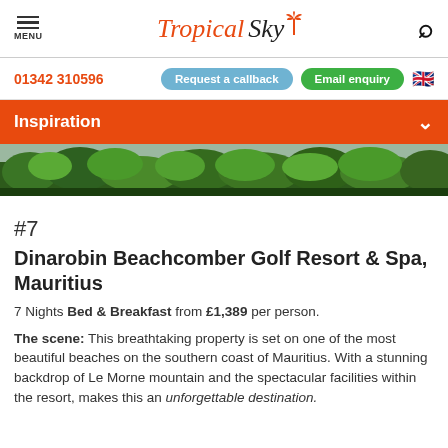Tropical Sky — MENU | search
01342 310596  Request a callback  Email enquiry
Inspiration
[Figure (photo): Aerial or wide-angle view of lush green tropical forest/resort landscape strip]
#7
Dinarobin Beachcomber Golf Resort & Spa, Mauritius
7 Nights Bed & Breakfast from £1,389 per person.
The scene: This breathtaking property is set on one of the most beautiful beaches on the southern coast of Mauritius. With a stunning backdrop of Le Morne mountain and the spectacular facilities within the resort, makes this an unforgettable destination.